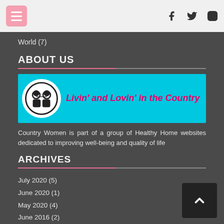Navigation bar with menu button and social icons (Facebook, Twitter, Instagram)
World (7)
ABOUT US
[Figure (logo): Cyan banner with circular logo and text: Livin' and Lovin' in the Country in pink italic bold]
Country Women is part of a group of Healthy Home websites dedicated to improving well-being and quality of life
ARCHIVES
July 2020 (5)
June 2020 (1)
May 2020 (4)
June 2016 (?)